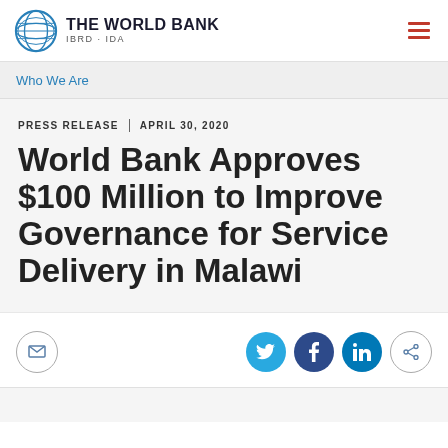[Figure (logo): The World Bank logo with globe icon and text 'THE WORLD BANK IBRD · IDA']
Who We Are
PRESS RELEASE | APRIL 30, 2020
World Bank Approves $100 Million to Improve Governance for Service Delivery in Malawi